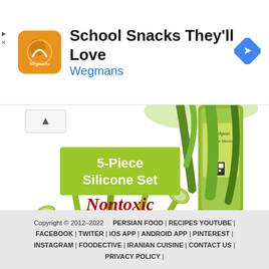[Figure (screenshot): Wegmans ad banner with orange/yellow logo, title 'School Snacks They'll Love', subtitle 'Wegmans', and a blue diamond navigation arrow on the right]
[Figure (photo): Product photo showing a 5-Piece Silicone Set with green silicone kitchen utensils (spoons/ladles) fanned out on white background with green packaging bottle labeled 'Aashpazi 5-Piece Silicone'. Green banner text reads '5-Piece Silicone Set' and red italic text 'Nontoxic']
Copyright © 2012–2022    PERSIAN FOOD | RECIPES YOUTUBE | FACEBOOK | TWITER | IOS APP | ANDROID APP | PINTEREST | INSTAGRAM | FOODECTIVE | IRANIAN CUISINE | CONTACT US | PRIVACY POLICY |